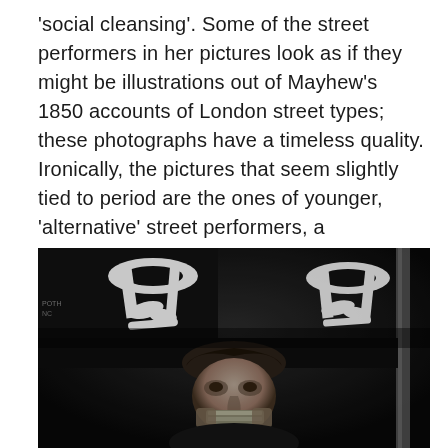'social cleansing'. Some of the street performers in her pictures look as if they might be illustrations out of Mayhew's 1850 accounts of London street types; these photographs have a timeless quality. Ironically, the pictures that seem slightly tied to period are the ones of younger, 'alternative' street performers, a phenomenon indelibly associated with the 1970s and 1980s.
[Figure (photo): Black and white photograph showing a man playing a harmonica in the lower portion, with large white painted calligraphy or graffiti characters visible in the upper portion against a dark background. A vertical pole or column is visible on the right side.]